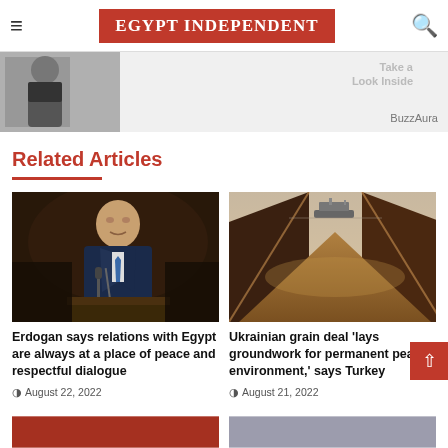EGYPT INDEPENDENT
[Figure (photo): Advertisement image showing a woman in black top, partially visible on left side, with text overlay on right side reading 'Look Inside' and source label 'BuzzAura']
Related Articles
[Figure (photo): Photo of Erdogan speaking at a podium with microphones, wearing a navy suit, in a dark indoor setting]
Erdogan says relations with Egypt are always at a place of peace and respectful dialogue
August 22, 2022
[Figure (photo): Photo showing piles of grain with a ship visible in the background at sea, warm brownish tones]
Ukrainian grain deal 'lays groundwork for permanent peace environment,' says Turkey
August 21, 2022